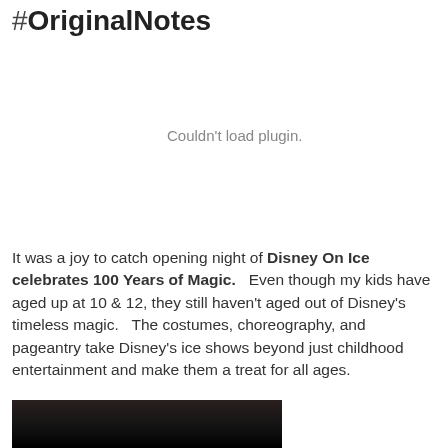#OriginalNotes
[Figure (other): Plugin area showing 'Couldn't load plugin.' error message — embedded media that failed to load]
It was a joy to catch opening night of Disney On Ice celebrates 100 Years of Magic.   Even though my kids have aged up at 10 & 12, they still haven't aged out of Disney's timeless magic.   The costumes, choreography, and pageantry take Disney's ice shows beyond just childhood entertainment and make them a treat for all ages.
[Figure (photo): Bottom strip of a dark photo, partially visible at the bottom of the page]